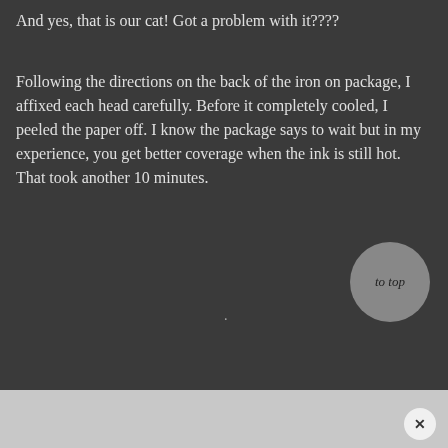And yes, that is our cat! Got a problem with it????
Following the directions on the back of the iron on package, I affixed each head carefully. Before it completely cooled, I peeled the paper off. I know the package says to wait but in my experience, you get better coverage when the ink is still hot. That took another 10 minutes.
.
to top
×